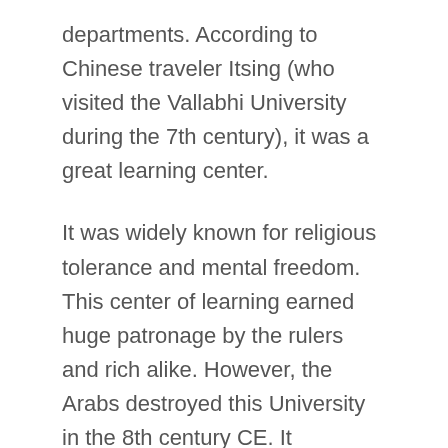departments. According to Chinese traveler Itsing (who visited the Vallabhi University during the 7th century), it was a great learning center.
It was widely known for religious tolerance and mental freedom. This center of learning earned huge patronage by the rulers and rich alike. However, the Arabs destroyed this University in the 8th century CE. It continued to impart education for the next few hundred years.